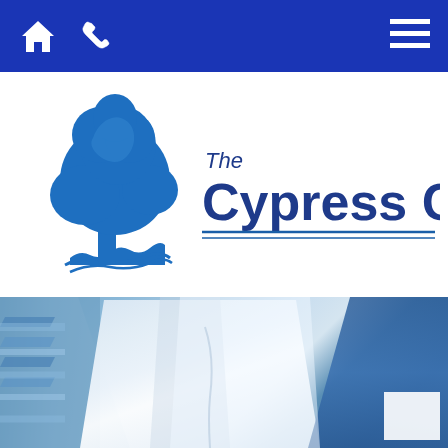[Figure (screenshot): Mobile website navigation bar with home icon, phone icon on the left and hamburger menu on the right, on a blue background]
[Figure (logo): The Cypress Clinic logo: blue cypress tree silhouette on the left with 'The Cypress Clinic' text in dark navy blue, with two blue underlines beneath the text]
[Figure (photo): Background photo of medical professionals in white coats and scrubs, with a blue overlay tint]